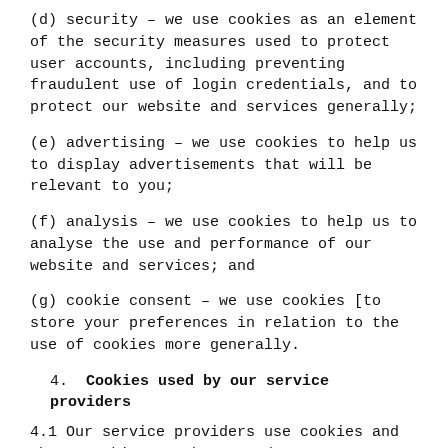(d) security – we use cookies as an element of the security measures used to protect user accounts, including preventing fraudulent use of login credentials, and to protect our website and services generally;
(e) advertising – we use cookies to help us to display advertisements that will be relevant to you;
(f) analysis – we use cookies to help us to analyse the use and performance of our website and services; and
(g) cookie consent – we use cookies [to store your preferences in relation to the use of cookies more generally.
4.  Cookies used by our service providers
4.1 Our service providers use cookies and those cookies may be stored on your computer when you visit our website.